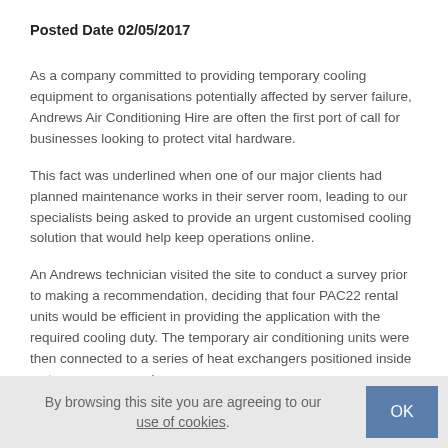Posted Date 02/05/2017
As a company committed to providing temporary cooling equipment to organisations potentially affected by server failure, Andrews Air Conditioning Hire are often the first port of call for businesses looking to protect vital hardware.
This fact was underlined when one of our major clients had planned maintenance works in their server room, leading to our specialists being asked to provide an urgent customised cooling solution that would help keep operations online.
An Andrews technician visited the site to conduct a survey prior to making a recommendation, deciding that four PAC22 rental units would be efficient in providing the application with the required cooling duty. The temporary air conditioning units were then connected to a series of heat exchangers positioned inside a storage room nearby.
By browsing this site you are agreeing to our use of cookies.